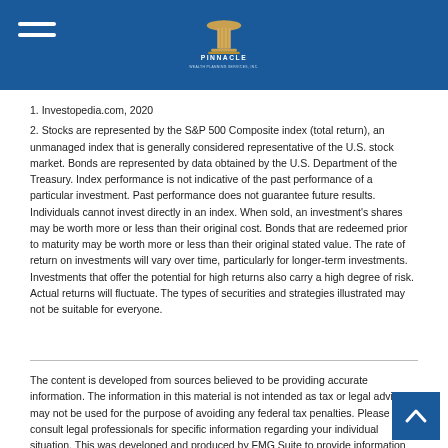Pinnacle Wealth Planning Services, Inc.
1. Investopedia.com, 2020
2. Stocks are represented by the S&P 500 Composite index (total return), an unmanaged index that is generally considered representative of the U.S. stock market. Bonds are represented by data obtained by the U.S. Department of the Treasury. Index performance is not indicative of the past performance of a particular investment. Past performance does not guarantee future results. Individuals cannot invest directly in an index. When sold, an investment's shares may be worth more or less than their original cost. Bonds that are redeemed prior to maturity may be worth more or less than their original stated value. The rate of return on investments will vary over time, particularly for longer-term investments. Investments that offer the potential for high returns also carry a high degree of risk. Actual returns will fluctuate. The types of securities and strategies illustrated may not be suitable for everyone.
The content is developed from sources believed to be providing accurate information. The information in this material is not intended as tax or legal advice. It may not be used for the purpose of avoiding any federal tax penalties. Please consult legal professionals for specific information regarding your individual situation. This was developed and produced by FMG Suite to provide information on a topic that may be of interest. FMG Suite is not affiliated with the named broker-dealer, state- or